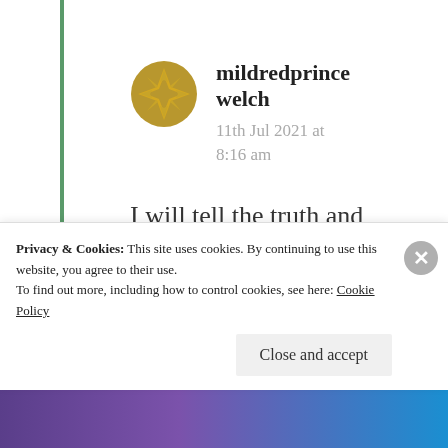[Figure (illustration): Golden compass-rose / star avatar icon for user mildredprincewelch]
mildredprince welch
11th Jul 2021 at 8:16 am
I will tell the truth and present supporting evidence to support that truth, and if the truth offends you then so be it!
Privacy & Cookies: This site uses cookies. By continuing to use this website, you agree to their use.
To find out more, including how to control cookies, see here: Cookie Policy